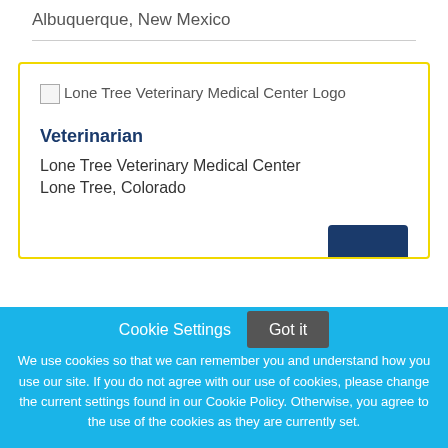Albuquerque, New Mexico
[Figure (logo): Lone Tree Veterinary Medical Center Logo placeholder image]
Veterinarian
Lone Tree Veterinary Medical Center
Lone Tree, Colorado
Cookie Settings  Got it
We use cookies so that we can remember you and understand how you use our site. If you do not agree with our use of cookies, please change the current settings found in our Cookie Policy. Otherwise, you agree to the use of the cookies as they are currently set.